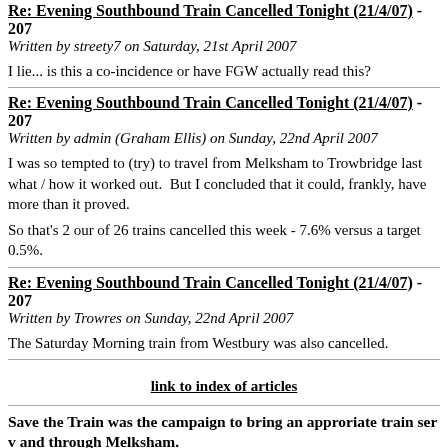Re: Evening Southbound Train Cancelled Tonight (21/4/07) - 207
Written by streety7 on Saturday, 21st April 2007
I lie... is this a co-incidence or have FGW actually read this?
Re: Evening Southbound Train Cancelled Tonight (21/4/07) - 207
Written by admin (Graham Ellis) on Sunday, 22nd April 2007
I was so tempted to (try) to travel from Melksham to Trowbridge last what / how it worked out.  But I concluded that it could, frankly, hav more than it proved.
So that's 2 our of 26 trains cancelled this week - 7.6% versus a target 0.5%.
Re: Evening Southbound Train Cancelled Tonight (21/4/07) - 207
Written by Trowres on Sunday, 22nd April 2007
The Saturday Morning train from Westbury was also cancelled.
link to index of articles
Save the Train was the campaign to bring an approriate train ser and through Melksham.